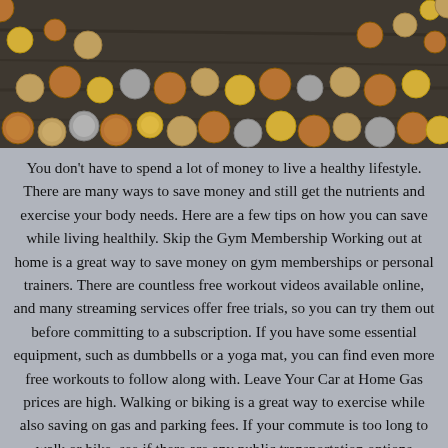[Figure (photo): Overhead view of various coins (pennies, quarters, international coins) scattered on a dark wooden surface]
You don't have to spend a lot of money to live a healthy lifestyle. There are many ways to save money and still get the nutrients and exercise your body needs. Here are a few tips on how you can save while living healthily. Skip the Gym Membership Working out at home is a great way to save money on gym memberships or personal trainers. There are countless free workout videos available online, and many streaming services offer free trials, so you can try them out before committing to a subscription. If you have some essential equipment, such as dumbbells or a yoga mat, you can find even more free workouts to follow along with. Leave Your Car at Home Gas prices are high. Walking or biking is a great way to exercise while also saving on gas and parking fees. If your commute is too long to walk or bike, see if there are any public transportation options available that you can take advantage of. Carpooling is another good way to save money and reduce your carbon footprint. Buy Non-Perishables in Bulk One way to